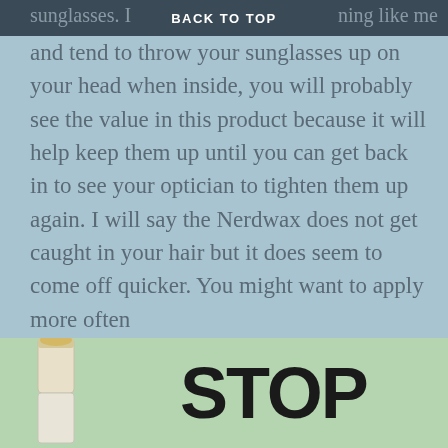BACK TO TOP
sunglasses. If you are anything like me and tend to throw your sunglasses up on your head when inside, you will probably see the value in this product because it will help keep them up until you can get back in to see your optician to tighten them up again. I will say the Nerdwax does not get caught in your hair but it does seem to come off quicker. You might want to apply more often
[Figure (illustration): Partial image of a chapstick/wax tube on the left and large bold text reading STOP on a light green background]